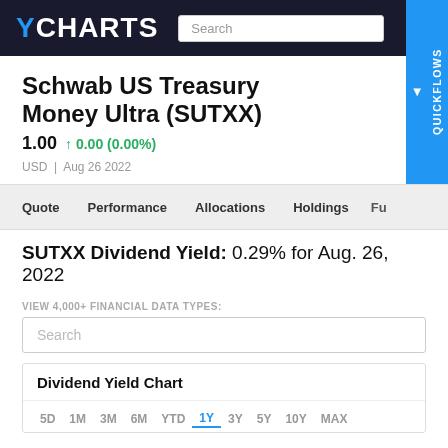YCHARTS
Schwab US Treasury Money Ultra (SUTXX)
1.00  ↑ 0.00 (0.00%)
USD | Aug 26 2022
Quote   Performance   Allocations   Holdings   Fu...
SUTXX Dividend Yield: 0.29% for Aug. 26, 2022
VIEW 4,000+ FINANCIAL DATA TYPES:
Search
Dividend Yield Chart
5D  1M  3M  6M  YTD  1Y  3Y  5Y  10Y  MAX